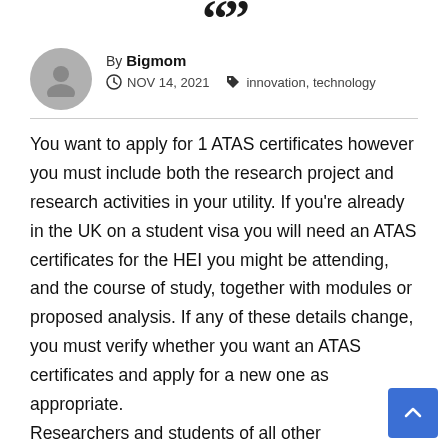“”
By Bigmom
NOV 14, 2021   innovation, technology
You want to apply for 1 ATAS certificates however you must include both the research project and research activities in your utility. If you’re already in the UK on a student visa you will need an ATAS certificates for the HEI you might be attending, and the course of study, together with modules or proposed analysis. If any of these details change, you must verify whether you want an ATAS certificates and apply for a new one as appropriate.
Researchers and students of all other